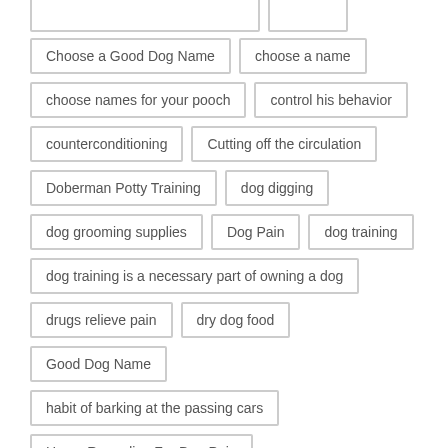Choose a Good Dog Name
choose a name
choose names for your pooch
control his behavior
counterconditioning
Cutting off the circulation
Doberman Potty Training
dog digging
dog grooming supplies
Dog Pain
dog training
dog training is a necessary part of owning a dog
drugs relieve pain
dry dog food
Good Dog Name
habit of barking at the passing cars
Home Remedies For Dog Pain
How to Choose a Good Dog Dog Name
How to Take Care of Your Dog